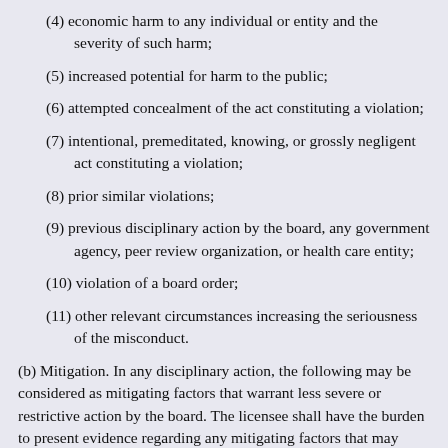(4) economic harm to any individual or entity and the severity of such harm;
(5) increased potential for harm to the public;
(6) attempted concealment of the act constituting a violation;
(7) intentional, premeditated, knowing, or grossly negligent act constituting a violation;
(8) prior similar violations;
(9) previous disciplinary action by the board, any government agency, peer review organization, or health care entity;
(10) violation of a board order;
(11) other relevant circumstances increasing the seriousness of the misconduct.
(b) Mitigation. In any disciplinary action, the following may be considered as mitigating factors that warrant less severe or restrictive action by the board. The licensee shall have the burden to present evidence regarding any mitigating factors that may apply in the particular case. The presence of mitigating factors